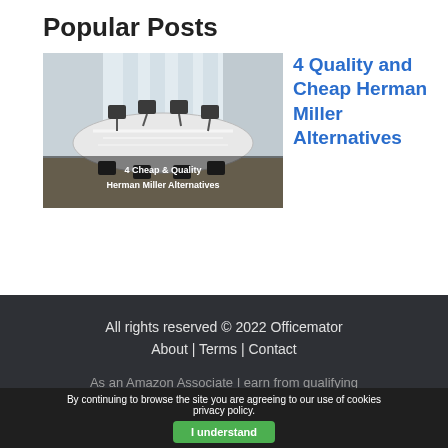Popular Posts
[Figure (photo): Conference room with large white table and black chairs, with overlay text reading '4 Cheap & Quality Herman Miller Alternatives']
4 Quality and Cheap Herman Miller Alternatives
All rights reserved © 2022 Officemator
About | Terms | Contact
As an Amazon Associate I earn from qualifying
By continuing to browse the site you are agreeing to our use of cookies privacy policy.
I understand